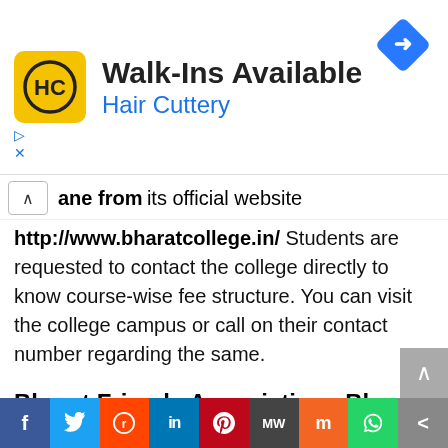[Figure (advertisement): Hair Cuttery advertisement banner with logo, 'Walk-Ins Available' headline, blue navigation icon]
ane from its official website http://www.bharatcollege.in/ Students are requested to contact the college directly to know course-wise fee structure. You can visit the college campus or call on their contact number regarding the same.
Bharat Friends Associations Bharat College of Arts & Commerce, Badlapur Thane Contact Details
Address- Hendre Pada, Near Raniv Resorts,